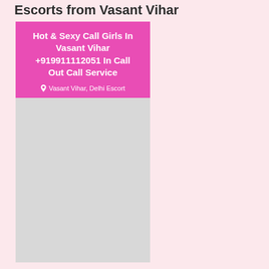Escorts from Vasant Vihar
[Figure (infographic): Card with pink header text 'Hot & Sexy Call Girls In Vasant Vihar +919911112051 In Call Out Call Service' with location tag 'Vasant Vihar, Delhi Escort' and a light grey image area below.]